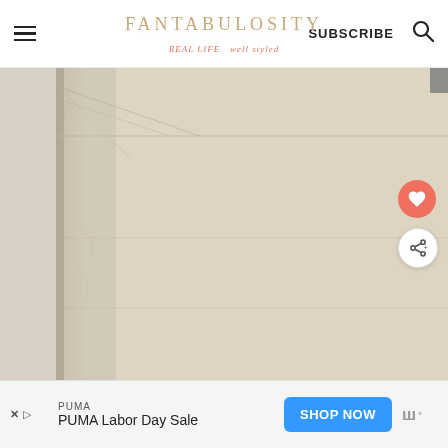FANTABULOSITY — REAL LIFE well styled — SUBSCRIBE
[Figure (photo): Close-up photograph of a folded kraft/brown paper bag with visible creases and folds, on a light background]
[Figure (other): Ad bar: PUMA - PUMA Labor Day Sale - SHOP NOW button]
PUMA | PUMA Labor Day Sale | SHOP NOW